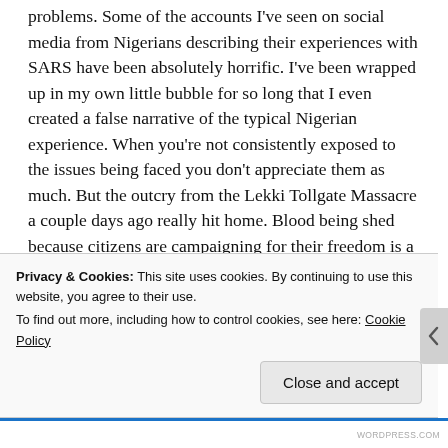problems. Some of the accounts I've seen on social media from Nigerians describing their experiences with SARS have been absolutely horrific. I've been wrapped up in my own little bubble for so long that I even created a false narrative of the typical Nigerian experience. When you're not consistently exposed to the issues being faced you don't appreciate them as much. But the outcry from the Lekki Tollgate Massacre a couple days ago really hit home. Blood being shed because citizens are campaigning for their freedom is a fate I never hope to be accustomed to. Being exposed to one too many violent images over the last few weeks is a trend I hope doesn't
Privacy & Cookies: This site uses cookies. By continuing to use this website, you agree to their use.
To find out more, including how to control cookies, see here: Cookie Policy